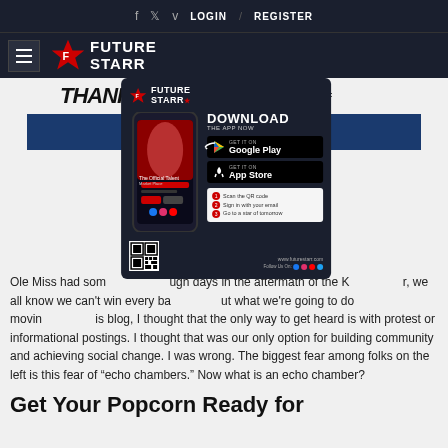f  t  v  LOGIN / REGISTER
[Figure (logo): Future Starr logo with star icon and wordmark on dark navy background, with hamburger menu icon]
[Figure (infographic): Thank You For Being A Loyal Fan Of Future Starr banner with app download modal overlay showing phone mockup, Google Play and App Store buttons, QR code steps, and www.futurestarr.com footer]
Ole Miss had some tough days in the aftermath of the Kiffin era... we all know we can't win every battle... but what we're going to do moving forward... In this blog, I thought that the only way to get heard is with protest or informational postings. I thought that was our only option for building community and achieving social change. I was wrong. The biggest fear among folks on the left is this fear of "echo chambers." Now what is an echo chamber?
Get Your Popcorn Ready for